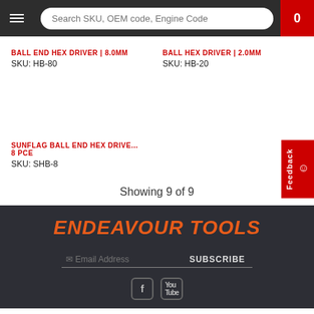Search SKU, OEM code, Engine Code | 0
BALL END HEX DRIVER | 8.0MM
SKU: HB-80
BALL HEX DRIVER | 2.0MM
SKU: HB-20
SUNFLAG BALL END HEX DRIVE... 8 PCE
SKU: SHB-8
Showing 9 of 9
ENDEAVOUR TOOLS
Email Address
SUBSCRIBE